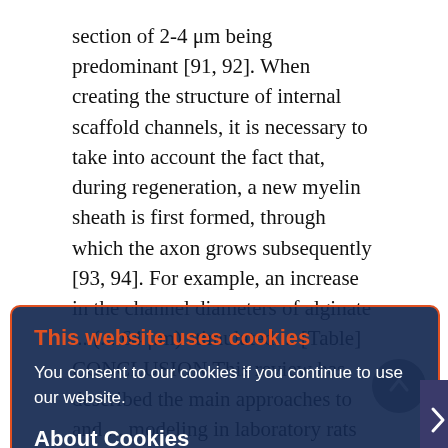section of 2-4 μm being predominant [91, 92]. When creating the structure of internal scaffold channels, it is necessary to take into account the fact that, during regeneration, a new myelin sheath is first formed, through which the axon grows subsequently [93, 94]. For example, an increase in the channel diameters of alginate ... (64 μm) stimulated ... [Table] CONCLUSION This review has described the main approaches to and ... modeling in laboratory rats and demonstrated the use of biodegradable 3D scaffolds for restoring the functions of an injured spinal cord. However, each SCI model should be improved and adapted to the type and form of a new tested scaffold. The relationship between a quantitative recovery of axons and maintenance of the motor function after injury...
[Figure (other): Cookie consent overlay dialog with dark navy background and orange border. Title 'This website uses cookies' in orange, body text 'You consent to our cookies if you continue to use our website.' in white, 'About Cookies' heading in white bold, and an OK button in blue.]